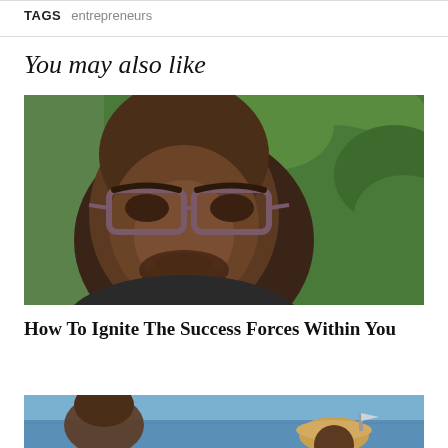TAGS   entrepreneurs
You may also like
[Figure (photo): Close-up photo of a Black man wearing brown-framed glasses, outdoors with green leafy trees in the background.]
How To Ignite The Success Forces Within You
[Figure (photo): Partial photo of people outdoors near water, one person wearing a hat.]